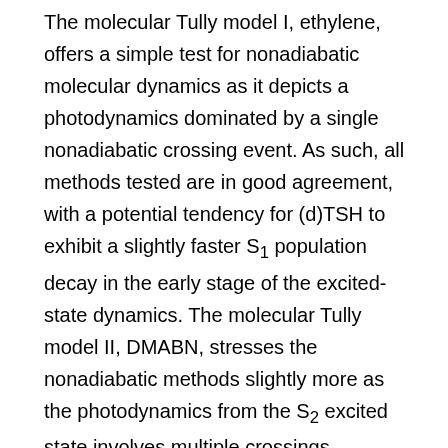The molecular Tully model I, ethylene, offers a simple test for nonadiabatic molecular dynamics as it depicts a photodynamics dominated by a single nonadiabatic crossing event. As such, all methods tested are in good agreement, with a potential tendency for (d)TSH to exhibit a slightly faster S₁ population decay in the early stage of the excited-state dynamics. The molecular Tully model II, DMABN, stresses the nonadiabatic methods slightly more as the photodynamics from the S₂ excited state involves multiple crossings between S₂ and S₁ – a rather challenging dynamics to describe for TSH without a correction for decoherence. The molecular Tully model III, fulvene, paves the way for numerous ways of playing with nonadiabatic methods. The reflection of the nuclear wavepacket following passage through the sloped conical intersection as well as the possible intra- and interstate coupling between the nuclear wavepackets makes it a rather stringent test for all methods tested. The population dynamics can be altered by varying the initial conditions (nuclear kinetic energy) of the nonadiabatic dynamics à la